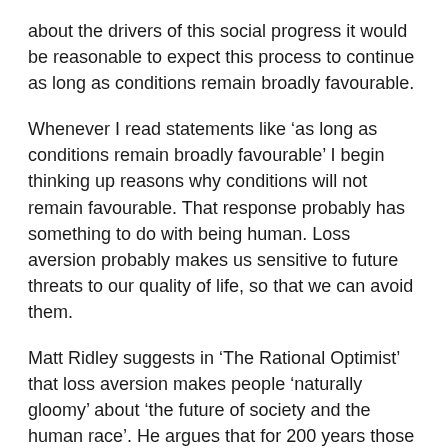about the drivers of this social progress it would be reasonable to expect this process to continue as long as conditions remain broadly favourable.
Whenever I read statements like ‘as long as conditions remain broadly favourable’ I begin thinking up reasons why conditions will not remain favourable. That response probably has something to do with being human. Loss aversion probably makes us sensitive to future threats to our quality of life, so that we can avoid them.
Matt Ridley suggests in ‘The Rational Optimist’ that loss aversion makes people ‘naturally gloomy’ about ‘the future of society and the human race’. He argues that for 200 years those preaching doom and gloom ‘have had all the headlines, even though optimists have far more often been right’. I think he overstates his case. I am old enough to remember what today seems like a naive faith in progress that seemed to pervade western society in the 1950s and ’60s, despite a real risk of nuclear Armageddon during much of that period. Even today there is a fair amount of optimism in reporting of scientific progress. Slow progress is being